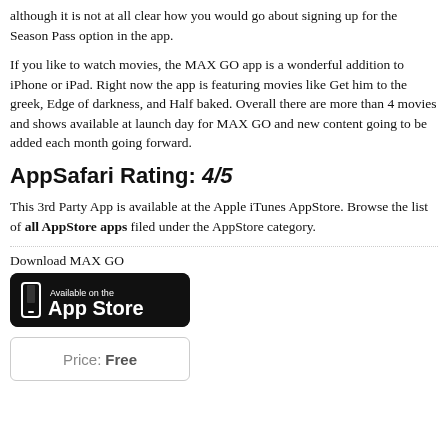although it is not at all clear how you would go about signing up for the Season Pass option in the app.
If you like to watch movies, the MAX GO app is a wonderful addition to iPhone or iPad. Right now the app is featuring movies like Get him to the greek, Edge of darkness, and Half baked. Overall there are more than 4 movies and shows available at launch day for MAX GO and new content going to be added each month going forward.
AppSafari Rating: 4/5
This 3rd Party App is available at the Apple iTunes AppStore. Browse the list of all AppStore apps filed under the AppStore category.
Download MAX GO
[Figure (logo): Available on the App Store badge - black rounded rectangle with phone icon and text 'Available on the App Store']
Price: Free